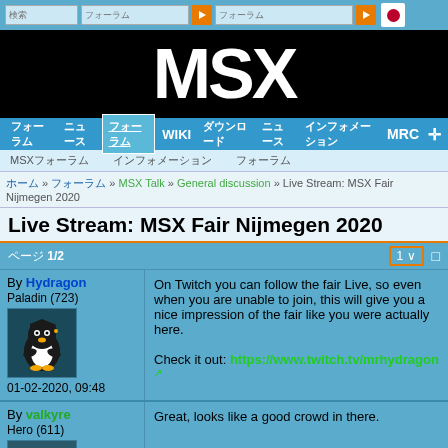MSX website navigation header with search inputs, play buttons, and Japanese flag icon
[Figure (logo): MSX logo in white bold text on black background]
Navigation: フォーラム WIKI ダウンロード ニュース MSX Resource Center MRC
Sub-nav: MSXフォーラム インフォメーション フォーラム
ホーム » フォーラム » MSX Talk » General discussion » Live Stream: MSX Fair Nijmegen 2020
Live Stream: MSX Fair Nijmegen 2020
ページ 1/2  1 ∨
By Hydragon
Paladin (723)
01-02-2020, 09:48
On Twitch you can follow the fair Live, so even when you are unable to join, this will give you a nice impression of the fair like you were actually here.

Check it out: https://www.twitch.tv/mrhydragon
By valkyre
Hero (611)
Great, looks like a good crowd in there.